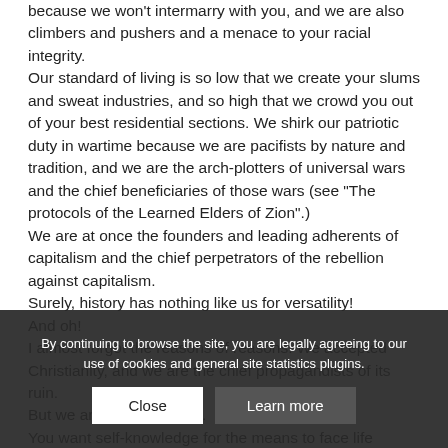because we won't intermarry with you, and we are also climbers and pushers and a menace to your racial integrity. Our standard of living is so low that we create your slums and sweat industries, and so high that we crowd you out of your best residential sections. We shirk our patriotic duty in wartime because we are pacifists by nature and tradition, and we are the arch-plotters of universal wars and the chief beneficiaries of those wars (see "The protocols of the Learned Elders of Zion".) We are at once the founders and leading adherents of capitalism and the chief perpetrators of the rebellion against capitalism. Surely, history has nothing like us for versatility! And oh! I almost forgot the reasons of reasons. We accepted Christianity, and we are the chief propagandists of its ruin. But we are self-deceivers. You want self-knowledge for the means to face life squarely and own up to the truth. You resent the Jew not
By continuing to browse the site, you are legally agreeing to our use of cookies and general site statistics plugins.